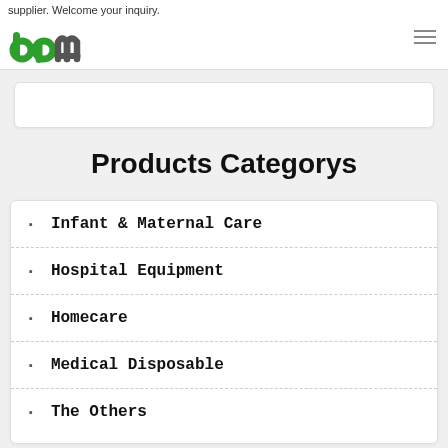supplier. Welcome your inquiry.
[Figure (logo): BPM logo with green and grey letters]
Products Categorys
Infant & Maternal Care
Hospital Equipment
Homecare
Medical Disposable
The Others